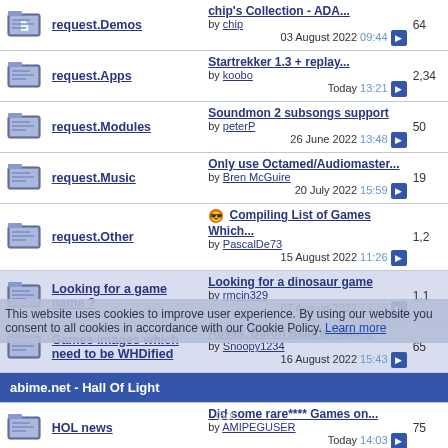request.Demos — chip's Collection - ADA... by chip, 03 August 2022 09:44, 64
request.Apps — Startrekker 1.3 + replay... by koobo, Today 13:21, 2,34
request.Modules — Soundmon 2 subsongs support by peterP, 26 June 2022 13:48, 50
request.Music — Only use Octamed/Audiomaster... by Bren McGuire, 20 July 2022 15:59, 19
request.Other — Compiling List of Games Which... by PascalDe73, 15 August 2022 11:26, 1,2
Looking for a game name ? — Looking for a dinosaur game by rmcin329, 07 August 2022 14:25, 1,1
Games images which need to be WHDified — Abyss, Baron Baldric, Mike... by Snoopy1234, 16 August 2022 15:43, 65
This website uses cookies to improve user experience. By using our website you consent to all cookies in accordance with our Cookie Policy. Learn more
abime.net - Hall Of Light
HOL news — Did some rare**** Games on... by AMIPEGUSER, Today 14:03, 75